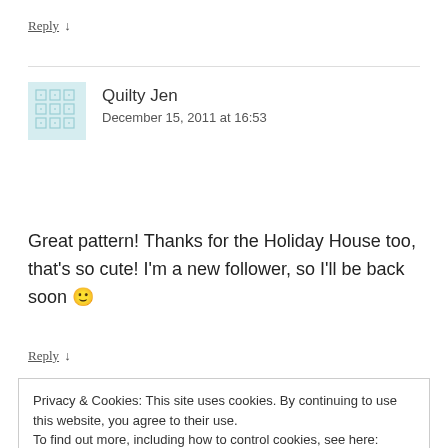Reply ↓
Quilty Jen
December 15, 2011 at 16:53
Great pattern! Thanks for the Holiday House too, that's so cute! I'm a new follower, so I'll be back soon 🙂
Reply ↓
Privacy & Cookies: This site uses cookies. By continuing to use this website, you agree to their use.
To find out more, including how to control cookies, see here: Cookie Policy